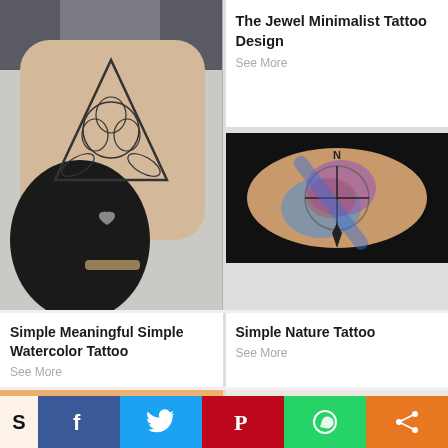The Jewel Minimalist Tattoo Design
See More
[Figure (photo): Watercolor compass tattoo with purple and blue splashes on forearm, against black background]
Simple Meaningful Simple Watercolor Tattoo
See More
[Figure (photo): Rose inside triangle geometric tattoo being applied by tattooist wearing black glove on person's forearm]
Simple Nature Tattoo
See More
[Figure (photo): Partial view of sun tattoo outline on skin with orange background]
[Figure (photo): Leaf/branch botanical tattoo on wrist/forearm on light skin]